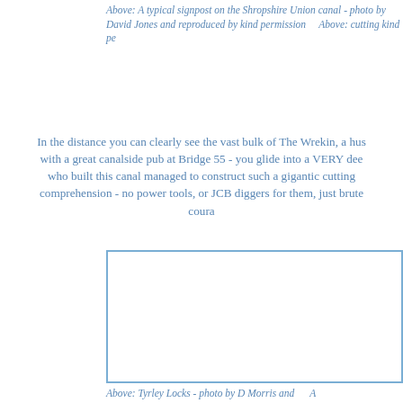Above: A typical signpost on the Shropshire Union canal - photo by David Jones and reproduced by kind permission    Above: cutting kind pe
In the distance you can clearly see the vast bulk of The Wrekin, a hus with a great canalside pub at Bridge 55 - you glide into a VERY dee who built this canal managed to construct such a gigantic cutting comprehension - no power tools, or JCB diggers for them, just brute coura
[Figure (photo): Photo placeholder box - Tyrley Locks]
Above: Tyrley Locks - photo by D Morris and    A